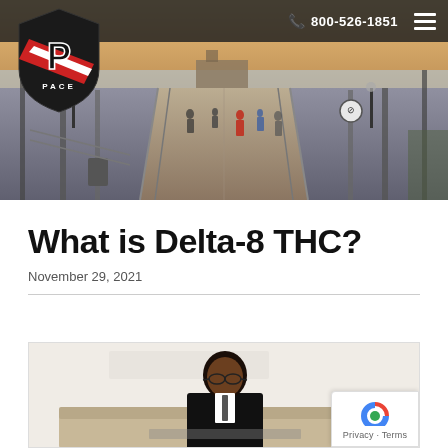[Figure (photo): Website header with a photo of a beach boardwalk/pier at sunset, with people walking. A shield logo with letter P is in the top-left corner. Navigation bar at top with phone number 800-526-1851 and hamburger menu icon.]
What is Delta-8 THC?
November 29, 2021
[Figure (photo): Partial image of a person (appears to be a young Black man wearing glasses) sitting at a desk/table in a bright room, visible from approximately chest up.]